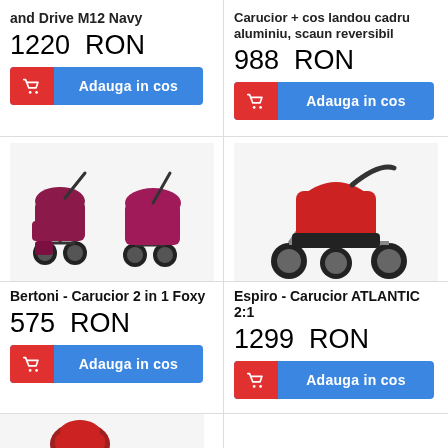and Drive M12 Navy
1220 RON
Adauga in cos
Carucior + cos landou cadru aluminiu, scaun reversibil
988 RON
Adauga in cos
[Figure (photo): Bertoni Carucior 2 in 1 Foxy - dark pink/red baby stroller shown in two configurations with accessories]
Bertoni - Carucior 2 in 1 Foxy
575 RON
Adauga in cos
[Figure (photo): Espiro Carucior ATLANTIC 2:1 - red three-wheel baby stroller]
Espiro - Carucior ATLANTIC 2:1
1299 RON
Adauga in cos
[Figure (photo): Partial view of another baby stroller product at bottom of page]